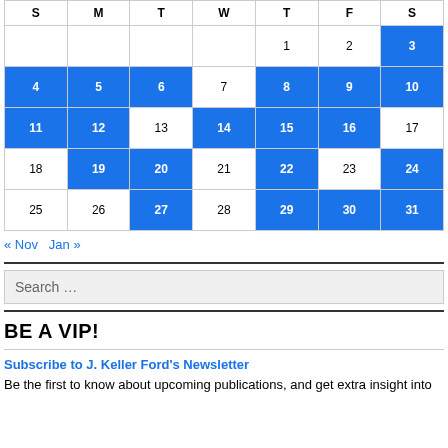| S | M | T | W | T | F | S |
| --- | --- | --- | --- | --- | --- | --- |
|  |  |  |  | 1 | 2 | 3 |
| 4 | 5 | 6 | 7 | 8 | 9 | 10 |
| 11 | 12 | 13 | 14 | 15 | 16 | 17 |
| 18 | 19 | 20 | 21 | 22 | 23 | 24 |
| 25 | 26 | 27 | 28 | 29 | 30 | 31 |
« Nov   Jan »
Search …
BE A VIP!
Subscribe to J. Keller Ford's Newsletter
Be the first to know about upcoming publications, and get extra insight into